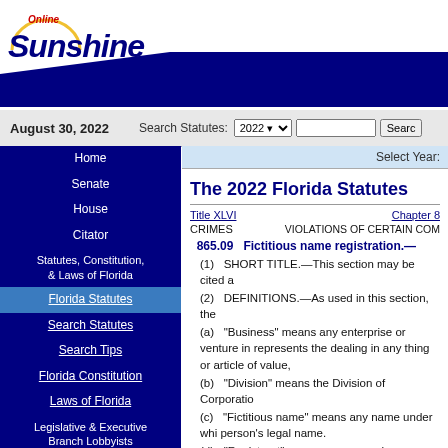[Figure (logo): Online Sunshine logo with arc/circle graphic and navy diagonal wave banner]
August 30, 2022  Search Statutes: 2022  [search box]  Search
Home
Senate
House
Citator
Statutes, Constitution, & Laws of Florida
Florida Statutes
Search Statutes
Search Tips
Florida Constitution
Laws of Florida
Legislative & Executive Branch Lobbyists
Information Center
Joint Legislative Committees & Other Entities
Historical Committees
Florida Government Efficiency Task Force
Legislative Employment
Legistore
Select Year:
The 2022 Florida Statutes
Title XLVI  CRIMES
Chapter 8  VIOLATIONS OF CERTAIN COM
865.09   Fictitious name registration.—
(1)   SHORT TITLE.—This section may be cited a
(2)   DEFINITIONS.—As used in this section, the
(a)   "Business" means any enterprise or venture in represents the dealing in any thing or article of value,
(b)   "Division" means the Division of Corporatio
(c)   "Fictitious name" means any name under whi person's legal name.
(d)   "Registrant" means a person who registers a
(3)   REGISTRATION.—